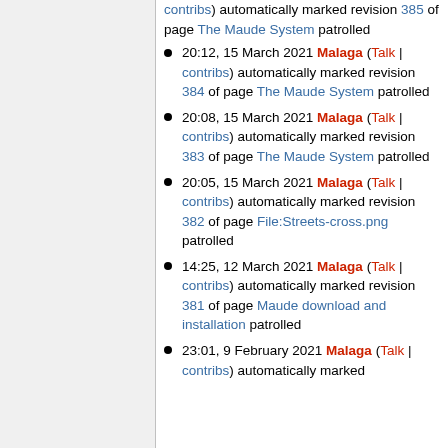contribs) automatically marked revision 385 of page The Maude System patrolled
20:12, 15 March 2021 Malaga (Talk | contribs) automatically marked revision 384 of page The Maude System patrolled
20:08, 15 March 2021 Malaga (Talk | contribs) automatically marked revision 383 of page The Maude System patrolled
20:05, 15 March 2021 Malaga (Talk | contribs) automatically marked revision 382 of page File:Streets-cross.png patrolled
14:25, 12 March 2021 Malaga (Talk | contribs) automatically marked revision 381 of page Maude download and installation patrolled
23:01, 9 February 2021 Malaga (Talk | contribs) automatically marked